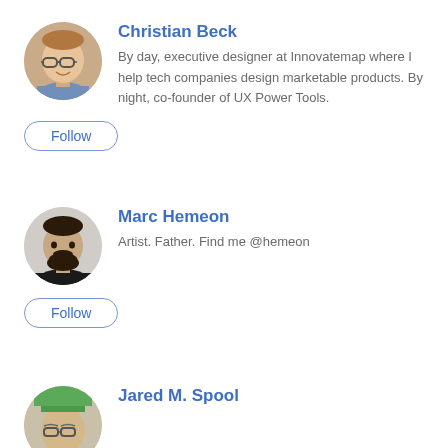[Figure (photo): Circular avatar photo of Christian Beck, a smiling man with glasses]
Christian Beck
By day, executive designer at Innovatemap where I help tech companies design marketable products. By night, co-founder of UX Power Tools.
Follow
[Figure (photo): Circular avatar photo of Marc Hemeon, a man with dark hair and beard]
Marc Hemeon
Artist. Father. Find me @hemeon
Follow
[Figure (photo): Circular avatar photo of Jared M. Spool, partially visible]
Jared M. Spool